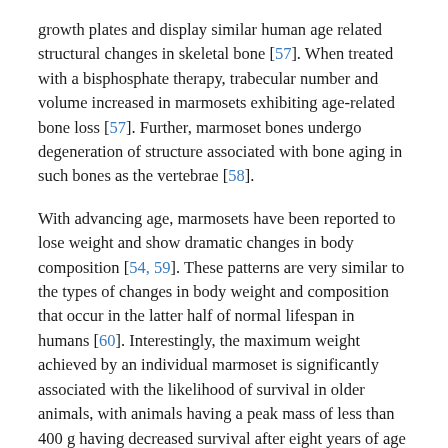growth plates and display similar human age related structural changes in skeletal bone [57]. When treated with a bisphosphate therapy, trabecular number and volume increased in marmosets exhibiting age-related bone loss [57]. Further, marmoset bones undergo degeneration of structure associated with bone aging in such bones as the vertebrae [58].
With advancing age, marmosets have been reported to lose weight and show dramatic changes in body composition [54, 59]. These patterns are very similar to the types of changes in body weight and composition that occur in the latter half of normal lifespan in humans [60]. Interestingly, the maximum weight achieved by an individual marmoset is significantly associated with the likelihood of survival in older animals, with animals having a peak mass of less than 400 g having decreased survival after eight years of age [54]. Perhaps related to this, marmosets that exhibit increased rates of stretching behavior